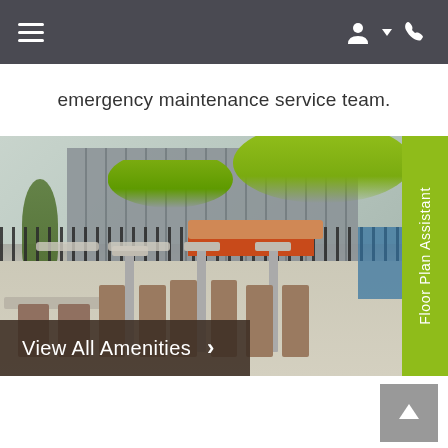Navigation bar with hamburger menu, user icon, and phone icon
emergency maintenance service team.
[Figure (photo): Outdoor apartment complex pool patio with tall bar chairs and tables, green umbrellas, orange seating/couches, pool visible in background, iron fence, and multi-story building behind. A green vertical tab on the right reads 'Floor Plan Assistant'. A dark brown button overlay in the bottom-left reads 'View All Amenities >']
Back to top arrow button